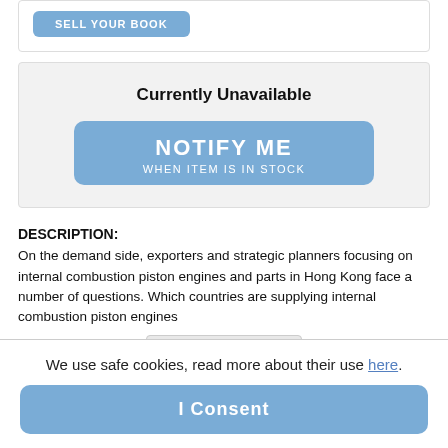[Figure (screenshot): Sell Your Book button (blue rounded rectangle)]
Currently Unavailable
[Figure (screenshot): NOTIFY ME / WHEN ITEM IS IN STOCK button (large blue rounded rectangle)]
DESCRIPTION:
On the demand side, exporters and strategic planners focusing on internal combustion piston engines and parts in Hong Kong face a number of questions. Which countries are supplying internal combustion piston engines
Expand description
About
We use safe cookies, read more about their use here.
I Consent